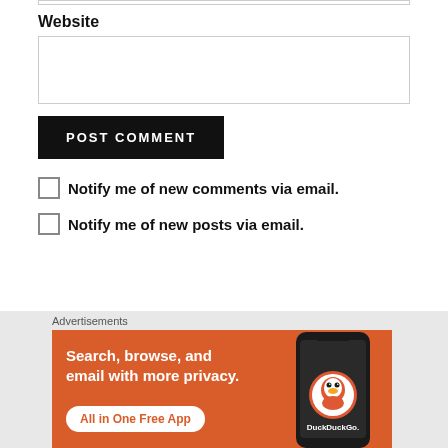Website
POST COMMENT
Notify me of new comments via email.
Notify me of new posts via email.
Advertisements
[Figure (other): DuckDuckGo advertisement banner: orange background with text 'Search, browse, and email with more privacy. All in One Free App' and a phone graphic with DuckDuckGo logo]